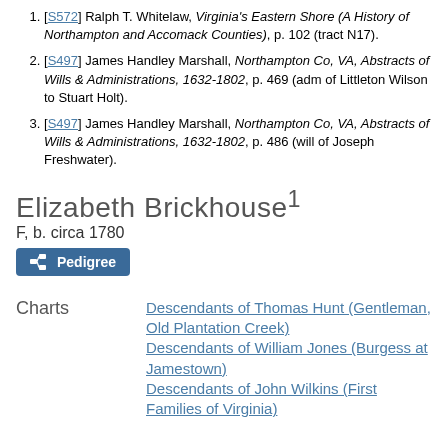[S572] Ralph T. Whitelaw, Virginia's Eastern Shore (A History of Northampton and Accomack Counties), p. 102 (tract N17).
[S497] James Handley Marshall, Northampton Co, VA, Abstracts of Wills & Administrations, 1632-1802, p. 469 (adm of Littleton Wilson to Stuart Holt).
[S497] James Handley Marshall, Northampton Co, VA, Abstracts of Wills & Administrations, 1632-1802, p. 486 (will of Joseph Freshwater).
Elizabeth Brickhouse1
F, b. circa 1780
Pedigree
Charts
Descendants of Thomas Hunt (Gentleman, Old Plantation Creek) Descendants of William Jones (Burgess at Jamestown) Descendants of John Wilkins (First Families of Virginia)